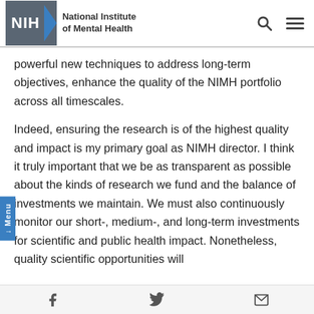NIH — National Institute of Mental Health
powerful new techniques to address long-term objectives, enhance the quality of the NIMH portfolio across all timescales.
Indeed, ensuring the research is of the highest quality and impact is my primary goal as NIMH director. I think it truly important that we be as transparent as possible about the kinds of research we fund and the balance of investments we maintain. We must also continuously monitor our short-, medium-, and long-term investments for scientific and public health impact. Nonetheless, quality scientific opportunities will
Social share icons: Facebook, Twitter, Email